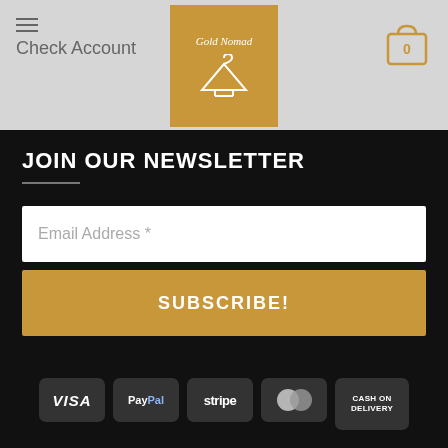Check Account
[Figure (logo): Gold Nomad clothing brand logo — golden/amber square with cursive text and a hanger icon]
JOIN OUR NEWSLETTER
Email Address *
SUBSCRIBE!
[Figure (infographic): Payment method badges: VISA, PayPal, stripe, Mastercard, CASH ON DELIVERY]
ABOUT  BLOG  CONTACT
Copyright 2022 © Bigclothesshoes.com